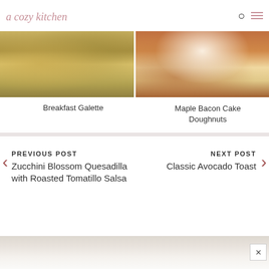a cozy kitchen
[Figure (photo): Two food photos side by side: left shows a Breakfast Galette with pastry and a blue plate, right shows a Maple Bacon Cake Donut with white glaze on a wooden surface]
Breakfast Galette
Maple Bacon Cake Doughnuts
PREVIOUS POST
Zucchini Blossom Quesadilla with Roasted Tomatillo Salsa
NEXT POST
Classic Avocado Toast
[Figure (photo): Partial view of a person in light pink clothing, bottom of page, partially visible]